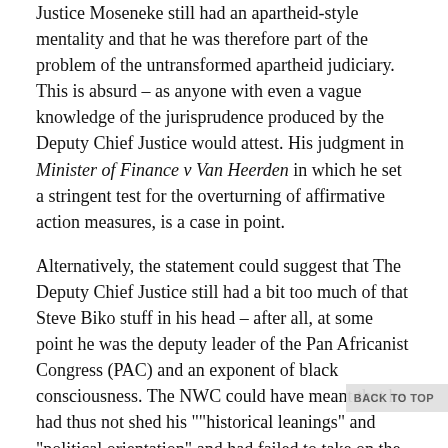Justice Moseneke still had an apartheid-style mentality and that he was therefore part of the problem of the untransformed apartheid judiciary. This is absurd – as anyone with even a vague knowledge of the jurisprudence produced by the Deputy Chief Justice would attest. His judgment in Minister of Finance v Van Heerden in which he set a stringent test for the overturning of affirmative action measures, is a case in point.
Alternatively, the statement could suggest that The Deputy Chief Justice still had a bit too much of that Steve Biko stuff in his head – after all, at some point he was the deputy leader of the Pan Africanist Congress (PAC) and an exponent of black consciousness. The NWC could have meant that he had thus not shed his ""historical leanings" and "political orientation" and had failed to take on the orientation of the ANC – which is the ultimate aim of transformation.
If this is a correct reading, it would mean that there are some ANC NWC members who have an extremely narrow view of transformation and see the state and the ANC as more or less one and the same thing. according to this view, transformation requires all institutions to come into line with the ANC's vision of